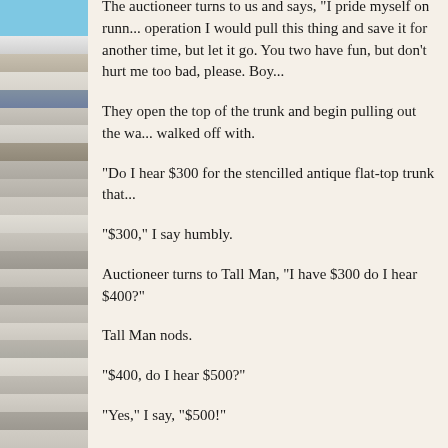The auctioneer turns to us and says, "I pride myself on running a clean operation I would pull this thing and save it for another time, but let it go. You two have fun, but don't hurt me too bad, please. Boy...
They open the top of the trunk and begin pulling out the wa... walked off with.
"Do I hear $300 for the stencilled antique flat-top trunk that...
"$300," I say humbly.
Auctioneer turns to Tall Man, "I have $300 do I hear $400?"
Tall Man nods.
"$400, do I hear $500?"
"Yes," I say, "$500!"
Tall Man looks at me. Then he shakes his head.
"Well, closing," the auctioneer said. "It'll close for $500...